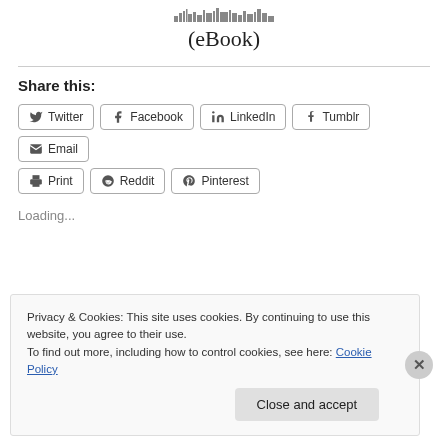[Figure (logo): London skyline/parliament building logo above (eBook) text]
(eBook)
Share this:
[Figure (infographic): Social share buttons: Twitter, Facebook, LinkedIn, Tumblr, Email, Print, Reddit, Pinterest]
Loading...
Privacy & Cookies: This site uses cookies. By continuing to use this website, you agree to their use.
To find out more, including how to control cookies, see here: Cookie Policy